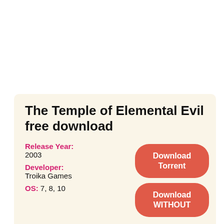The Temple of Elemental Evil free download
Release Year:
2003
Developer:
Troika Games
OS: 7, 8, 10
[Figure (other): Download Torrent button (red rounded rectangle)]
[Figure (other): Download WITHOUT button (red rounded rectangle, partially visible)]